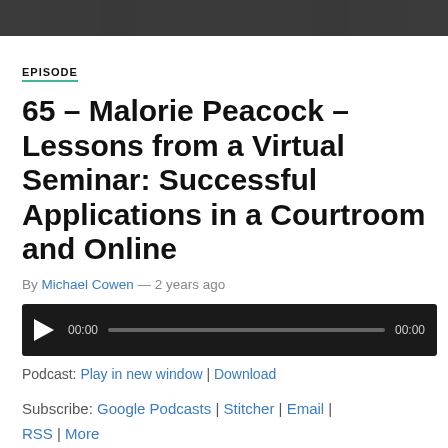[Figure (photo): Top banner image, dark/decorative header image]
EPISODE
65 – Malorie Peacock – Lessons from a Virtual Seminar: Successful Applications in a Courtroom and Online
By Michael Cowen — 2 years ago
[Figure (other): Audio player widget with play button, progress bar, and timestamps 00:00 / 00:00]
Podcast: Play in new window | Download
Subscribe: Google Podcasts | Stitcher | Email | RSS | More